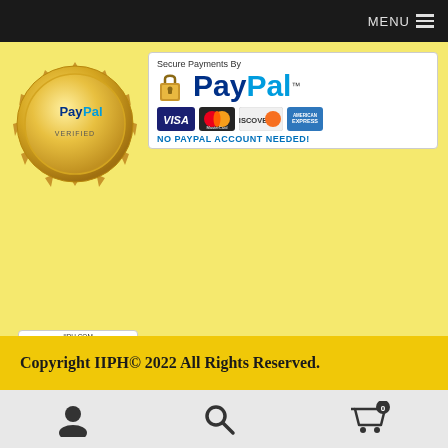MENU
[Figure (logo): PayPal Verified gold seal badge on left, and PayPal Secure Payments banner on right showing lock icon, PayPal logo, Visa/MasterCard/Discover/Amex card logos, and 'NO PAYPAL ACCOUNT NEEDED!']
[Figure (logo): SiteLock SECURE badge showing IIPH.COM, SiteLock logo, SECURE text, and Passed 21-Aug-2022]
Copyright IIPH© 2022 All Rights Reserved.